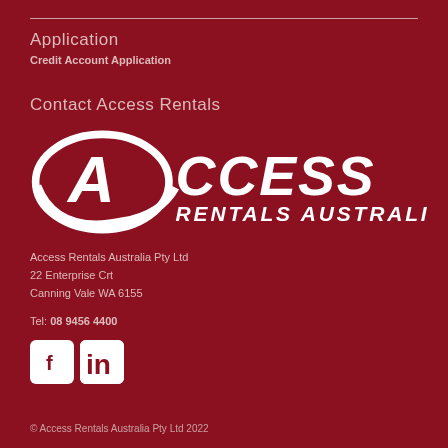Application
Credit Account Application
Contact Access Rentals
[Figure (logo): Access Rentals Australia logo — white stylized 'A' inside a swirl with text ACCESS RENTALS AUSTRALIA in bold italic white on dark red background]
Access Rentals Australia Pty Ltd
22 Enterprise Crt
Canning Vale WA 6155
Tel: 08 9456 4400
[Figure (other): Facebook and LinkedIn social media icons — white icons on white rounded square backgrounds]
© Access Rentals Australia Pty Ltd 2022